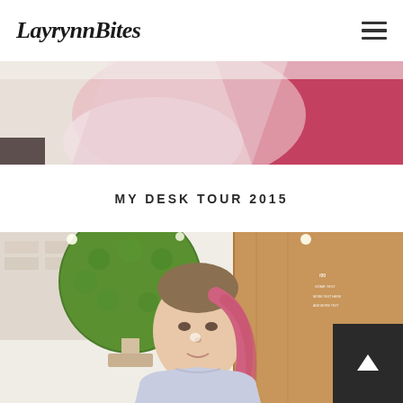LayrynnBites
[Figure (photo): Top decorative photo showing pink and white items on a desk, partial view, cropped at top of page]
MY DESK TOUR 2015
[Figure (photo): Photo of a young woman with pink-highlighted hair wearing a light purple sweatshirt, seated in front of a large green topiary ball and wooden wall paneling with Korean text signage]